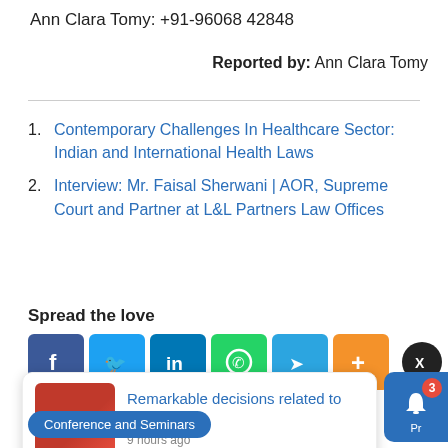Ann Clara Tomy: +91-96068 42848
Reported by: Ann Clara Tomy
Contemporary Challenges In Healthcare Sector: Indian and International Health Laws
Interview: Mr. Faisal Sherwani | AOR, Supreme Court and Partner at L&L Partners Law Offices
Spread the love
[Figure (screenshot): Social share icons: Facebook, Twitter, LinkedIn, WhatsApp, Telegram, plus button, and close X button]
[Figure (screenshot): Notification popup: image of pregnant woman with red background text, title 'Remarkable decisions related to Pregnancy', timestamp '9 hours ago']
Conference and Seminars